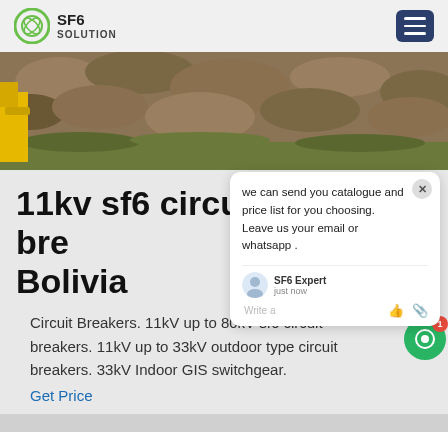SF6 SOLUTION
[Figure (photo): Outdoor rocky terrain with construction equipment, hero banner image for SF6 circuit breaker product page]
11kv sf6 circuit breaker Bolivia
Circuit Breakers. 11kV up to 80kV sf6 circuit breakers. 11kV up to 33kV outdoor type circuit breakers. 33kV Indoor GIS switchgear.
Get Price